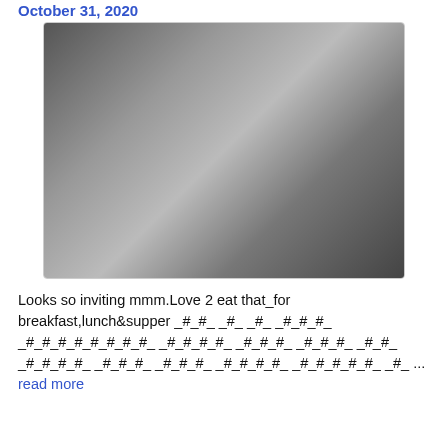October 31, 2020
[Figure (photo): A photo of a person lying on a rug]
Looks so inviting mmm.Love 2 eat that_for breakfast,lunch&supper _#_#_ _#_ _#_ _#_#_#_ _#_#_#_#_#_#_#_#_ _#_#_#_#_ _#_#_#_ _#_#_#_ _#_#_ _#_#_#_#_ _#_#_#_ _#_#_#_ _#_#_#_#_ _#_#_#_#_#_ _#_ ... read more